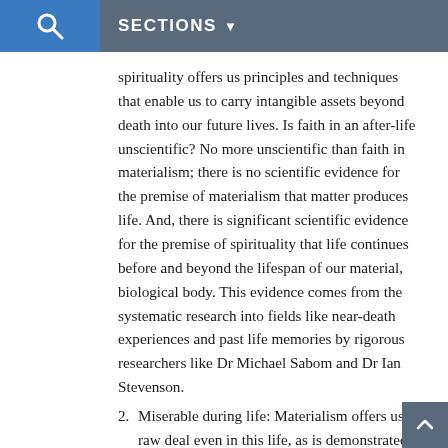SECTIONS
spirituality offers us principles and techniques that enable us to carry intangible assets beyond death into our future lives. Is faith in an after-life unscientific? No more unscientific than faith in materialism; there is no scientific evidence for the premise of materialism that matter produces life. And, there is significant scientific evidence for the premise of spirituality that life continues before and beyond the lifespan of our material, biological body. This evidence comes from the systematic research into fields like near-death experiences and past life memories by rigorous researchers like Dr Michael Sabom and Dr Ian Stevenson.
2. Miserable during life: Materialism offers us a raw deal even in this life, as is demonstrated using